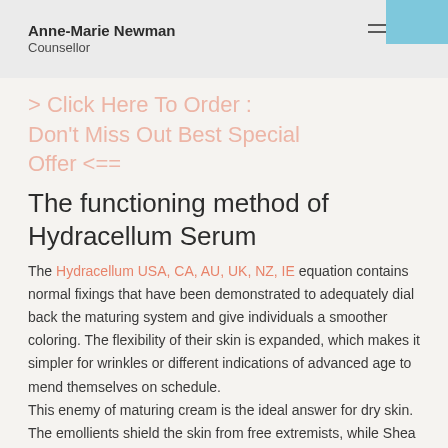Anne-Marie Newman
Counsellor
> Click Here To Order : Don't Miss Out Best Special Offer <==
The functioning method of Hydracellum Serum
The Hydracellum USA, CA, AU, UK, NZ, IE equation contains normal fixings that have been demonstrated to adequately dial back the maturing system and give individuals a smoother coloring. The flexibility of their skin is expanded, which makes it simpler for wrinkles or different indications of advanced age to mend themselves on schedule.
This enemy of maturing cream is the ideal answer for dry skin. The emollients shield the skin from free extremists, while Shea Butter mends it assuming individuals have